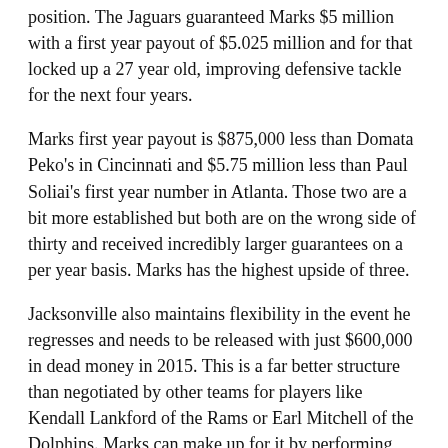position. The Jaguars guaranteed Marks $5 million with a first year payout of $5.025 million and for that locked up a 27 year old, improving defensive tackle for the next four years.
Marks first year payout is $875,000 less than Domata Peko's in Cincinnati and $5.75 million less than Paul Soliai's first year number in Atlanta. Those two are a bit more established but both are on the wrong side of thirty and received incredibly larger guarantees on a per year basis. Marks has the highest upside of three.
Jacksonville also maintains flexibility in the event he regresses and needs to be released with just $600,000 in dead money in 2015. This is a far better structure than negotiated by other teams for players like Kendall Lankford of the Rams or Earl Mitchell of the Dolphins. Marks can make up for it by performing well and earning some additional incentives, but the Jaguars pretty much beat the market with this contract extension.